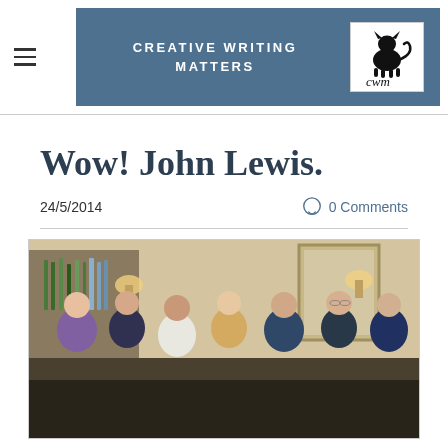CREATIVE WRITING MATTERS
Wow! John Lewis.
24/5/2014
0 Comments
[Figure (photo): Group photo of seven women posing together indoors at what appears to be a social gathering or event, with bar/bottles visible in the background and warm lighting.]